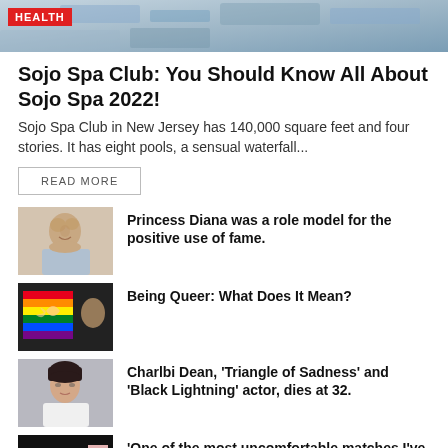[Figure (photo): Top banner image with HEALTH badge label in red, showing aerial/spa view]
Sojo Spa Club: You Should Know All About Sojo Spa 2022!
Sojo Spa Club in New Jersey has 140,000 square feet and four stories. It has eight pools, a sensual waterfall...
READ MORE
[Figure (photo): Portrait of Princess Diana smiling with short hair]
Princess Diana was a role model for the positive use of fame.
[Figure (photo): Person holding rainbow pride flags in a heart shape]
Being Queer: What Does It Mean?
[Figure (photo): Portrait of Charlbi Dean]
Charlbi Dean, 'Triangle of Sadness' and 'Black Lightning' actor, dies at 32.
[Figure (photo): Nick Kyrgios at press conference]
'One of the most uncomfortable matches I've played': Nick Kyrgios' emotional presser after Kokk